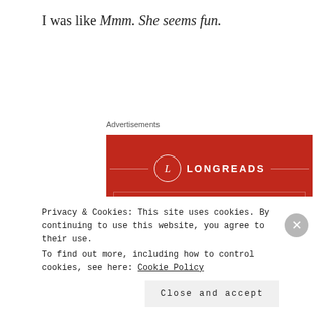I was like Mmm. She seems fun.
Advertisements
[Figure (illustration): Longreads advertisement on red background. Shows the Longreads logo (L in a circle) with the text 'LONGREADS', a decorative border box, headline text 'The best stories on the web – ours, and everyone else's.', and a black 'Start reading' button.]
Privacy & Cookies: This site uses cookies. By continuing to use this website, you agree to their use.
To find out more, including how to control cookies, see here: Cookie Policy
Close and accept